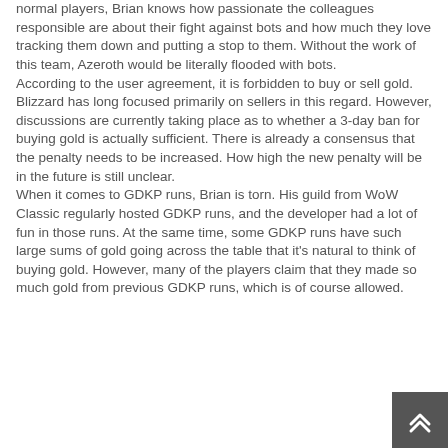normal players, Brian knows how passionate the colleagues responsible are about their fight against bots and how much they love tracking them down and putting a stop to them. Without the work of this team, Azeroth would be literally flooded with bots. According to the user agreement, it is forbidden to buy or sell gold. Blizzard has long focused primarily on sellers in this regard. However, discussions are currently taking place as to whether a 3-day ban for buying gold is actually sufficient. There is already a consensus that the penalty needs to be increased. How high the new penalty will be in the future is still unclear. When it comes to GDKP runs, Brian is torn. His guild from WoW Classic regularly hosted GDKP runs, and the developer had a lot of fun in those runs. At the same time, some GDKP runs have such large sums of gold going across the table that it's natural to think of buying gold. However, many of the players claim that they made so much gold from previous GDKP runs, which is of course allowed.